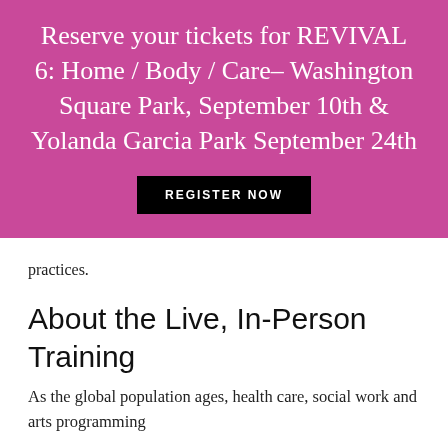[Figure (infographic): Pink/magenta banner with white serif text reading 'Reserve your tickets for REVIVAL 6: Home / Body / Care– Washington Square Park, September 10th & Yolanda Garcia Park September 24th' and a black 'REGISTER NOW' button]
practices.
About the Live, In-Person Training
As the global population ages, health care, social work and arts programming